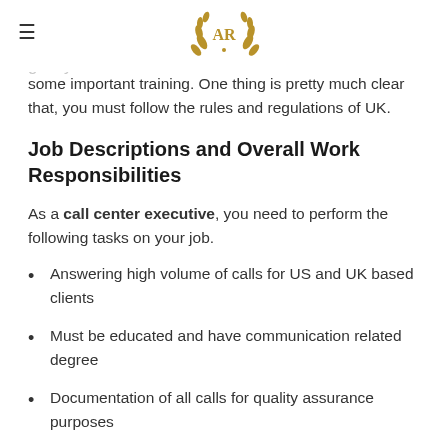AR (logo with laurel wreath)
already have some experience. On the other hand, if you don't have any expertise in this sector, then we can give you some important training. One thing is pretty much clear that, you must follow the rules and regulations of UK.
Job Descriptions and Overall Work Responsibilities
As a call center executive, you need to perform the following tasks on your job.
Answering high volume of calls for US and UK based clients
Must be educated and have communication related degree
Documentation of all calls for quality assurance purposes
Coordinating with others departments to ensure customer satisfaction